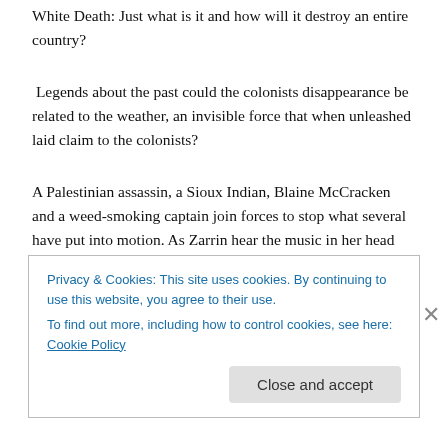White Death: Just what is it and how will it destroy an entire country?
Legends about the past could the colonists disappearance be related to the weather, an invisible force that when unleashed laid claim to the colonists?
A Palestinian assassin, a Sioux Indian, Blaine McCracken and a weed-smoking captain join forces to stop what several have put into motion. As Zarrin hear the music in her head and plays the many concertos to keep her on the move and her hands moving when fighting for her life, protecting our country and hoping to prevent what three men want to unleash: The Tenth Circle! With the help of an old buddy pretending to be senile in a retirement home Blaine, manages to figure out what the plan is, what Rule has in mind,
Privacy & Cookies: This site uses cookies. By continuing to use this website, you agree to their use.
To find out more, including how to control cookies, see here: Cookie Policy
Close and accept